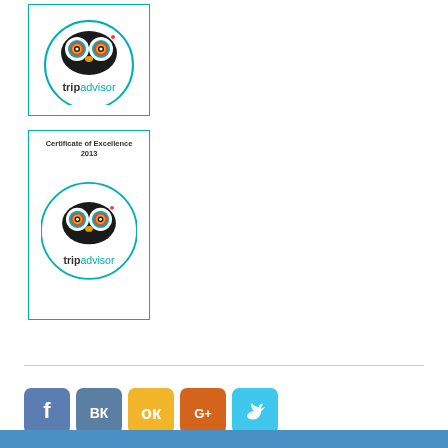[Figure (logo): TripAdvisor owl logo in teal circle with text 'tripadvisor', bordered box]
[Figure (logo): TripAdvisor Certificate of Excellence 2013 badge with owl logo in teal circle and text 'tripadvisor', bordered box]
[Figure (infographic): Social media share buttons row: Facebook (blue), VK (blue-grey), Odnoklassniki (yellow), Google+ (orange), Twitter (cyan)]
[Figure (other): Search bar input field with light grey background]
[Figure (other): Grey 'back to top' arrow button at bottom right]